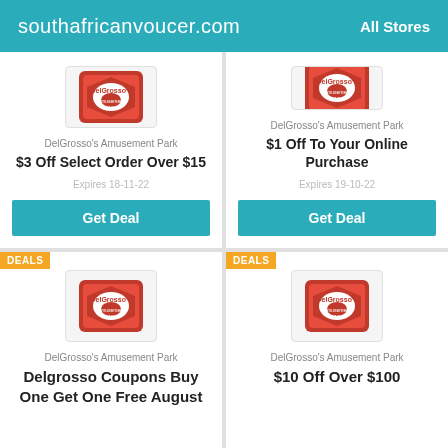southafricanvoucer.com   All Stores
DelGrosso's Amusement Park
$3 Off Select Order Over $15
Expires 18-11-22
Get Deal
DelGrosso's Amusement Park
$1 Off To Your Online Purchase
Expires 19-10-22
Get Deal
DEALS
[Figure (logo): DelGrosso's Amusement Park red shield logo]
DelGrosso's Amusement Park
Delgrosso Coupons Buy One Get One Free August
DEALS
[Figure (logo): DelGrosso's Amusement Park red shield logo]
DelGrosso's Amusement Park
$10 Off Over $100